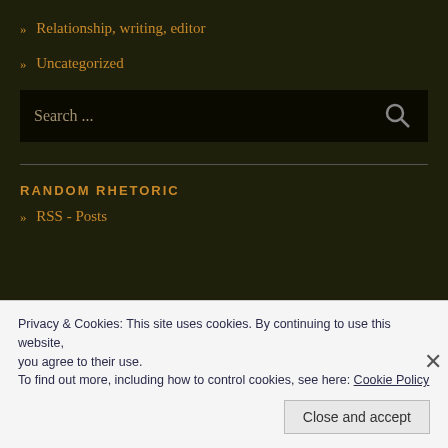» Relationship, writing, editor
» Uncategorized
Search ...
RANDOM RHETORIC
» RSS - Posts
Privacy & Cookies: This site uses cookies. By continuing to use this website, you agree to their use.
To find out more, including how to control cookies, see here: Cookie Policy
Close and accept